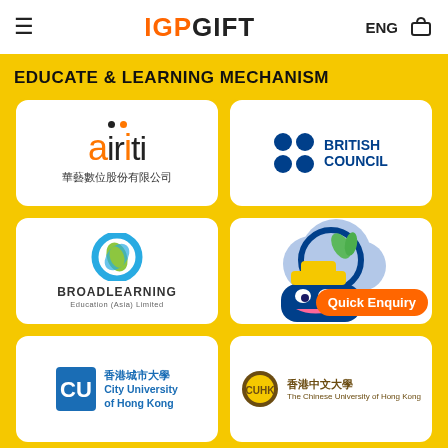IGP GIFT  ENG
EDUCATE & LEARNING MECHANISM
[Figure (logo): Airiti logo with orange and black text 'airiti' and Chinese text '華藝數位股份有限公司']
[Figure (logo): British Council logo with dark blue circle grid and text 'BRITISH COUNCIL']
[Figure (logo): BroadLearning Education (Asia) Limited logo with teal/green circular icon]
[Figure (illustration): Cartoon mascot character with cloud and magnifying glass, Quick Enquiry button]
[Figure (logo): City University of Hong Kong logo with Chinese text '香港城市大學' and English text 'City University of Hong Kong']
[Figure (logo): The Chinese University of Hong Kong logo with Chinese text '香港中文大學' and English text 'The Chinese University of Hong Kong']